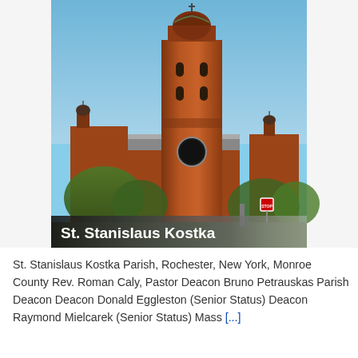[Figure (photo): Photograph of St. Stanislaus Kostka church in Rochester, New York. A tall red brick bell tower with a dark dome and cross at top dominates the image. The church has multiple smaller turrets and a large clock face on the tower. Trees and a stop sign are visible in the foreground. A white bold text overlay at the bottom of the image reads 'St. Stanislaus Kostka'.]
St. Stanislaus Kostka Parish, Rochester, New York, Monroe County Rev. Roman Caly, Pastor Deacon Bruno Petrauskas Parish Deacon Deacon Donald Eggleston (Senior Status) Deacon Raymond Mielcarek (Senior Status) Mass [...]